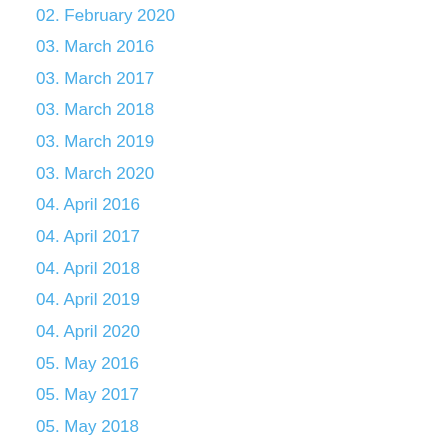02. February 2020
03. March 2016
03. March 2017
03. March 2018
03. March 2019
03. March 2020
04. April 2016
04. April 2017
04. April 2018
04. April 2019
04. April 2020
05. May 2016
05. May 2017
05. May 2018
05. May 2019
06. June 2016
06. June 2017
06. June 2018
06. June 2019
07. July 2015